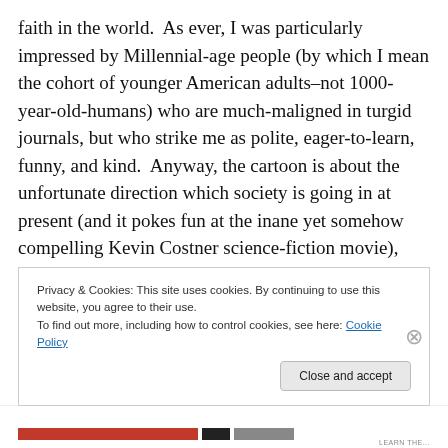faith in the world.  As ever, I was particularly impressed by Millennial-age people (by which I mean the cohort of younger American adults–not 1000-year-old-humans) who are much-maligned in turgid journals, but who strike me as polite, eager-to-learn, funny, and kind.  Anyway, the cartoon is about the unfortunate direction which society is going in at present (and it pokes fun at the inane yet somehow compelling Kevin Costner science-fiction movie),  however my unexpected book talk with strangers on a train makes me think the world might be headed in a much better direction!
Privacy & Cookies: This site uses cookies. By continuing to use this website, you agree to their use.
To find out more, including how to control cookies, see here: Cookie Policy